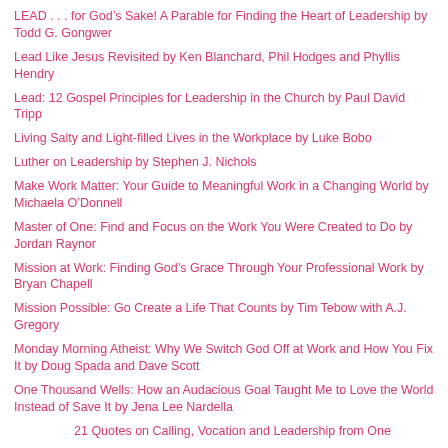LEAD . . . for God’s Sake! A Parable for Finding the Heart of Leadership by Todd G. Gongwer
Lead Like Jesus Revisited by Ken Blanchard, Phil Hodges and Phyllis Hendry
Lead: 12 Gospel Principles for Leadership in the Church by Paul David Tripp
Living Salty and Light-filled Lives in the Workplace by Luke Bobo
Luther on Leadership by Stephen J. Nichols
Make Work Matter: Your Guide to Meaningful Work in a Changing World by Michaela O’Donnell
Master of One: Find and Focus on the Work You Were Created to Do by Jordan Raynor
Mission at Work: Finding God’s Grace Through Your Professional Work by Bryan Chapell
Mission Possible: Go Create a Life That Counts by Tim Tebow with A.J. Gregory
Monday Morning Atheist: Why We Switch God Off at Work and How You Fix It by Doug Spada and Dave Scott
One Thousand Wells: How an Audacious Goal Taught Me to Love the World Instead of Save It by Jena Lee Nardella
21 Quotes on Calling, Vocation and Leadership from One